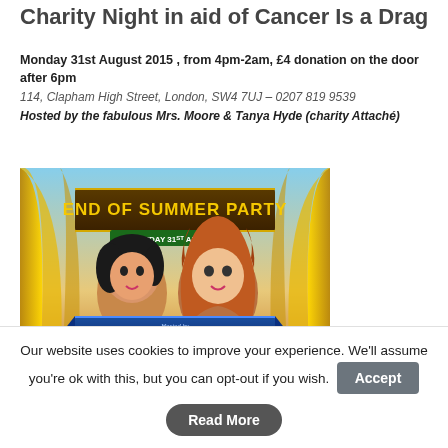Charity Night in aid of Cancer Is a Drag
Monday 31st August 2015 , from 4pm-2am, £4 donation on the door after 6pm
114, Clapham High Street, London, SW4 7UJ – 0207 819 9539
Hosted by the fabulous Mrs. Moore & Tanya Hyde (charity Attaché)
[Figure (photo): Event poster for End of Summer Party on Monday 31st August, hosted by Mrs Moore & Tanya Hyde, with Miss Penny, Sandra, and CK performing. Sound & Vision by Linda Bacardi.]
Our website uses cookies to improve your experience. We'll assume you're ok with this, but you can opt-out if you wish.
Accept
Read More